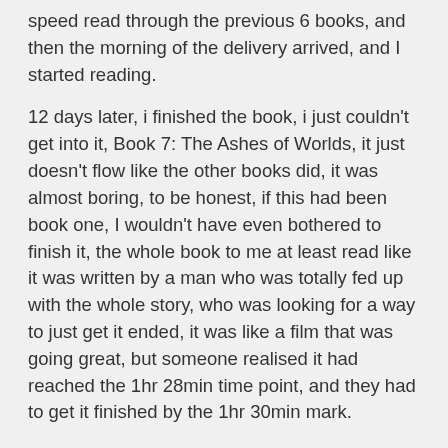speed read through the previous 6 books, and then the morning of the delivery arrived, and I started reading.
12 days later, i finished the book, i just couldn't get into it, Book 7: The Ashes of Worlds, it just doesn't flow like the other books did, it was almost boring, to be honest, if this had been book one, I wouldn't have even bothered to finish it, the whole book to me at least read like it was written by a man who was totally fed up with the whole story, who was looking for a way to just get it ended, it was like a film that was going great, but someone realised it had reached the 1hr 28min time point, and they had to get it finished by the 1hr 30min mark.
I feel the last book, a total disappointment, not written with the enthusiasm of the previous ones, and having the feel of a film that ends oddly, or the hurried script rewrite of a weekly TV episode that one of the stars gets sacked, and the story-lines get re-wrote to kill them off in some off-screen event, because the actor was sacked and the [continues]